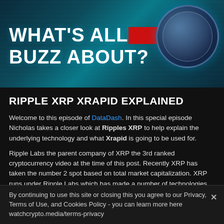[Figure (illustration): Dark teal themed banner image with bold white text reading "WHAT'S ALL THE BUZZ ABOUT?" and a cryptocurrency coin graphic on the right side]
RIPPLE XRP XRAPID EXPLAINED
Welcome to this episode of DataDash. In this special episode Nicholas takes a closer look at Ripples XRP to help explain the underlying technology and what Xrapid is going to be used for.
Ripple Labs the parent company of XRP the 3rd ranked cryptocurrency video at the time of this post. Recently XRP has taken the number 2 spot based on total market capitalization. XRP runs under Ripple Labs which has made a number of technologies around the remittance
By continuing to use this site or closing this you agree to our Privacy, Terms of Use, and Cookies Policy - you can learn more here watchcrypto.media/terms-privacy